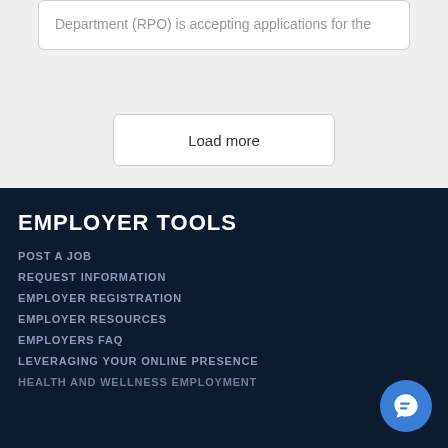Department (RPO) is accepting applications for the
Load more
EMPLOYER TOOLS
POST A JOB
REQUEST INFORMATION
EMPLOYER REGISTRATION
EMPLOYER RESOURCES
EMPLOYERS FAQ
LEVERAGING YOUR ONLINE PRESENCE
HEALTH AND WELLNESS EMPLOYMENT